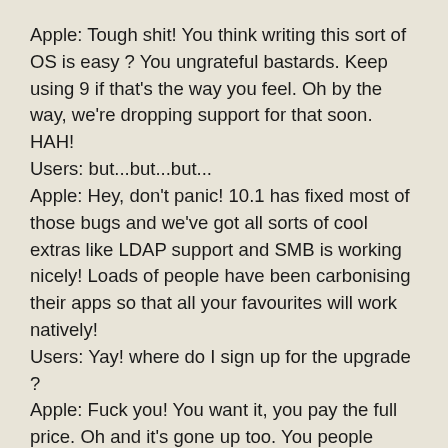Apple: Tough shit! You think writing this sort of OS is easy ? You ungrateful bastards. Keep using 9 if that's the way you feel. Oh by the way, we're dropping support for that soon. HAH!
Users: but...but...but...
Apple: Hey, don't panic! 10.1 has fixed most of those bugs and we've got all sorts of cool extras like LDAP support and SMB is working nicely! Loads of people have been carbonising their apps so that all your favourites will work natively!
Users: Yay! where do I sign up for the upgrade ?
Apple: Fuck you! You want it, you pay the full price. Oh and it's gone up too. You people make us sick!

etc ad nauseam